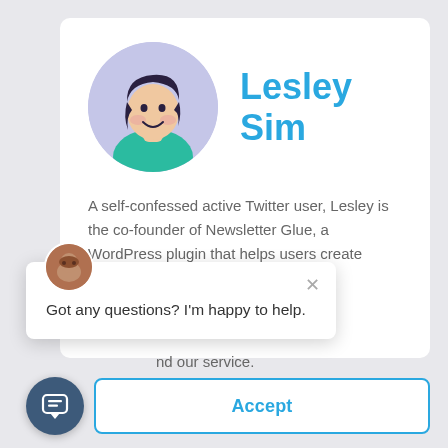[Figure (illustration): Illustrated avatar of Lesley Sim — woman with dark short hair wearing teal top, inside a lavender circle]
Lesley Sim
A self-confessed active Twitter user, Lesley is the co-founder of Newsletter Glue, a WordPress plugin that helps users create newsletters with
speaker at
Consent
nd our service.
[Figure (photo): Small circular photo of a person used as chat widget avatar]
Got any questions? I'm happy to help.
Accept